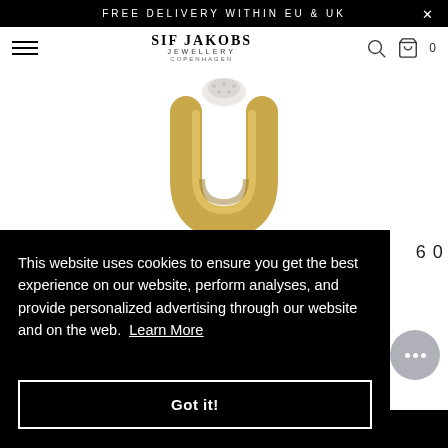FREE DELIVERY WITHIN EU & UK
[Figure (logo): Sif Jakobs Jewellery Copenhagen logo with hamburger menu, search icon, and cart icon showing 0 items]
[Figure (photo): Gold horseshoe/U-shaped pendant necklace with diamond-encrusted top, shown on white background]
This website uses cookies to ensure you get the best experience on our website, perform analyses, and provide personalized advertising through our website and on the web. Learn More
Got it!